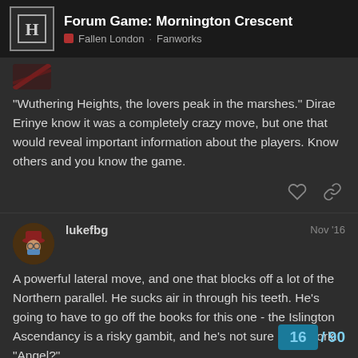Forum Game: Mornington Crescent — Fallen London Fanworks
“Wuthering Heights, the lovers peak in the marshes.” Dirae Erinye know it was a completely crazy move, but one that would reveal important information about the players. Know others and you know the game.
lukefbg — Nov ’16
A powerful lateral move, and one that blocks off a lot of the Northern parallel. He sucks air in through his teeth. He’s going to have to go off the books for this one - the Islington Ascendancy is a risky gambit, and he’s not sure it will work. “Angel?”
16 / 90